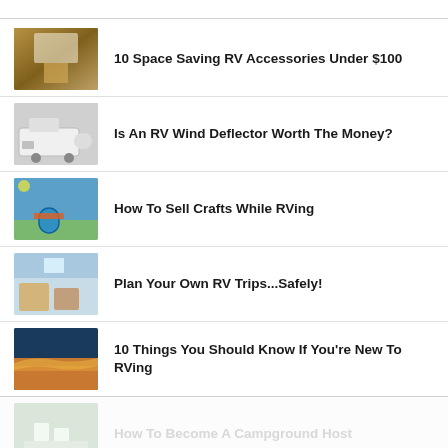10 Space Saving RV Accessories Under $100
Is An RV Wind Deflector Worth The Money?
How To Sell Crafts While RVing
Plan Your Own RV Trips...Safely!
10 Things You Should Know If You're New To RVing
How To Become A Campground Host